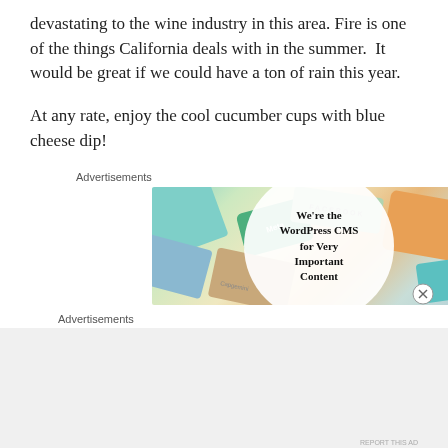devastating to the wine industry in this area. Fire is one of the things California deals with in the summer.  It would be great if we could have a ton of rain this year.
At any rate, enjoy the cool cucumber cups with blue cheese dip!
Advertisements
[Figure (illustration): Advertisement banner: colorful overlapping cards (Meta, Facebook, Capgemini, etc.) with a white circle in the center reading 'We're the WordPress CMS for Very Important Content', with a close (X) button.]
Advertisements